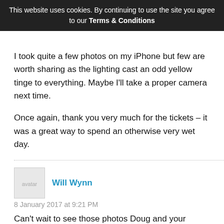This website uses cookies. By continuing to use the site you agree to our Terms & Conditions
I took quite a few photos on my iPhone but few are worth sharing as the lighting cast an odd yellow tinge to everything. Maybe I'll take a proper camera next time.
Once again, thank you very much for the tickets – it was a great way to spend an otherwise very wet day.
Will Wynn
8 January 2017 at 9:21 PM
Can't wait to see those photos Doug and your thoughts on the event.

Hope you enjoy.
Douglas McMillan